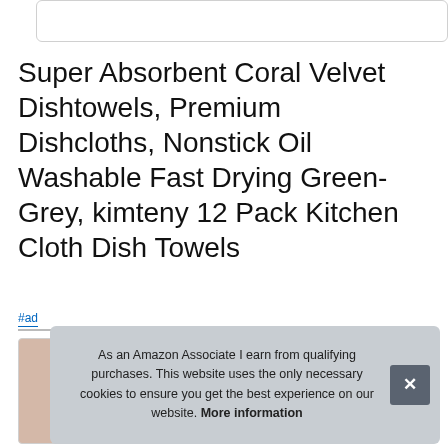[Figure (other): White rounded rectangle box at top of page]
Super Absorbent Coral Velvet Dishtowels, Premium Dishcloths, Nonstick Oil Washable Fast Drying Green-Grey, kimteny 12 Pack Kitchen Cloth Dish Towels
#ad
[Figure (photo): Partial product thumbnail image showing cloth dish towels]
As an Amazon Associate I earn from qualifying purchases. This website uses the only necessary cookies to ensure you get the best experience on our website. More information